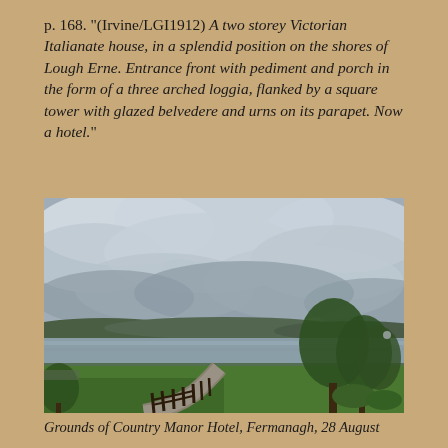p. 168. "(Irvine/LGI1912) A two storey Victorian Italianate house, in a splendid position on the shores of Lough Erne. Entrance front with pediment and porch in the form of a three arched loggia, flanked by a square tower with glazed belvedere and urns on its parapet. Now a hotel."
[Figure (photo): Photograph showing the grounds of Country Manor Hotel, Fermanagh. A curved driveway winds through green lawns, with a wooden post-and-rail fence along the left side. Trees are visible on the right. In the background is Lough Erne with hills beyond, under a dramatic cloudy sky.]
Grounds of Country Manor Hotel, Fermanagh, 28 August